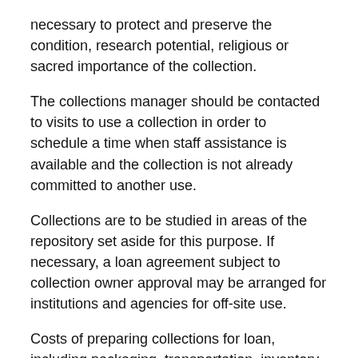necessary to protect and preserve the condition, research potential, religious or sacred importance of the collection.
The collections manager should be contacted to visits to use a collection in order to schedule a time when staff assistance is available and the collection is not already committed to another use.
Collections are to be studied in areas of the repository set aside for this purpose. If necessary, a loan agreement subject to collection owner approval may be arranged for institutions and agencies for off-site use.
Costs of preparing collections for loan, including packaging, transportation, inventory and re-shelving upon return, are the responsibility of the borrower.